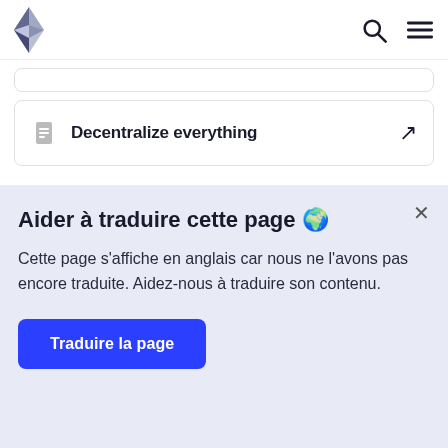Ethereum logo, search icon, menu icon
[Figure (other): Partial top card stub (border only visible)]
Decentralize everything ↗
Aider à traduire cette page 🌍
Cette page s'affiche en anglais car nous ne l'avons pas encore traduite. Aidez-nous à traduire son contenu.
Traduire la page